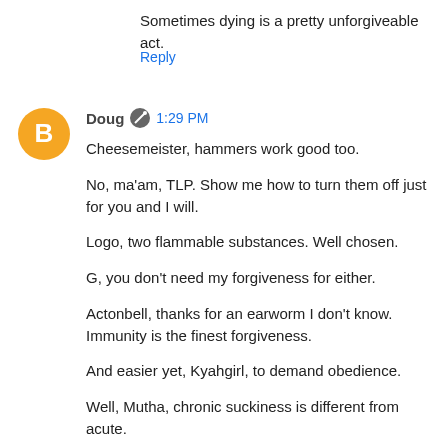Sometimes dying is a pretty unforgiveable act.
Reply
Doug  1:29 PM
Cheesemeister, hammers work good too.
No, ma'am, TLP. Show me how to turn them off just for you and I will.
Logo, two flammable substances. Well chosen.
G, you don't need my forgiveness for either.
Actonbell, thanks for an earworm I don't know. Immunity is the finest forgiveness.
And easier yet, Kyahgirl, to demand obedience.
Well, Mutha, chronic suckiness is different from acute.
Reply